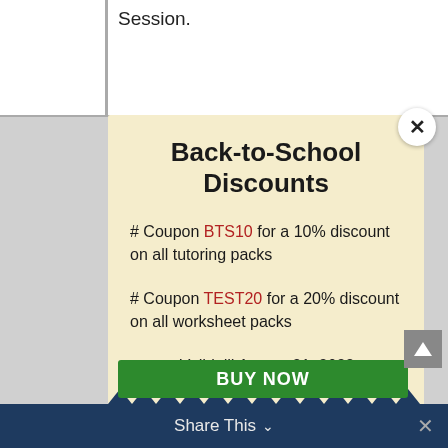Session.
Back-to-School Discounts
# Coupon BTS10 for a 10% discount on all tutoring packs
# Coupon TEST20 for a 20% discount on all worksheet packs
Valid till August 31, 2022
BUY NOW
Share This ∨